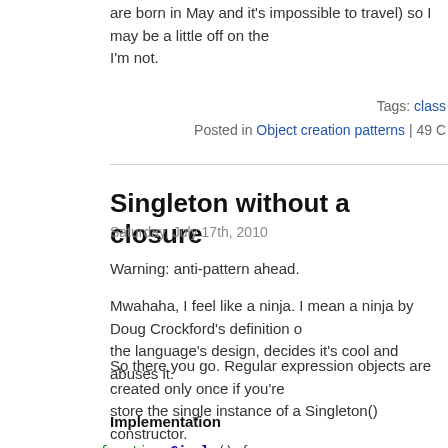are born in May and it's impossible to travel) so I may be a little off on the I'm not.
Tags: class
Posted in Object creation patterns | 49 C
Singleton without a closure
Saturday, July 17th, 2010
Warning: anti-pattern ahead.
Mwahaha, I feel like a ninja. I mean a ninja by Doug Crockford's definition o the language's design, decides it's cool and abuses it.
So there you go. Regular expression objects are created only once if you're store the single instance of a Singleton() constructor.
Implementation
[Figure (screenshot): Code block showing JavaScript function Single() with strict mode string, var re = / /, if (re.instance) { return re.instance; }]